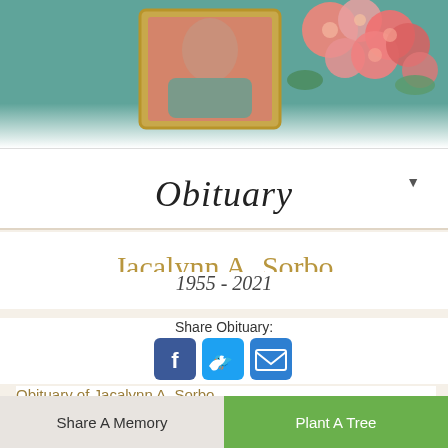[Figure (photo): Top banner image showing a framed portrait photo and pink/coral flowers (ranunculus) against a teal/green background]
Obituary
Jacalynn A. Sorbo
1955 - 2021
Share Obituary:
[Figure (infographic): Social sharing icons: Facebook (blue), Twitter (sky blue), Email (blue envelope)]
Obituary of Jacalynn A. Sorbo
Jacalynn A. Sorbo of Southington passed
Share A Memory
Plant A Tree